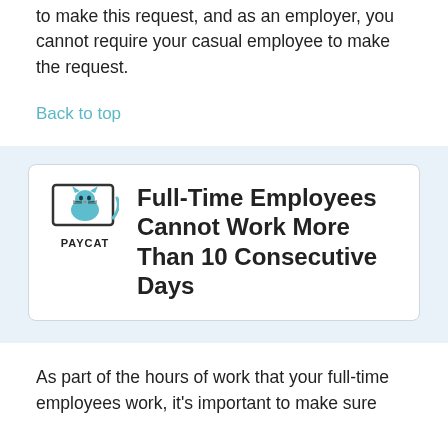to make this request, and as an employer, you cannot require your casual employee to make the request.
Back to top
Full-Time Employees Cannot Work More Than 10 Consecutive Days
As part of the hours of work that your full-time employees work, it's important to make sure